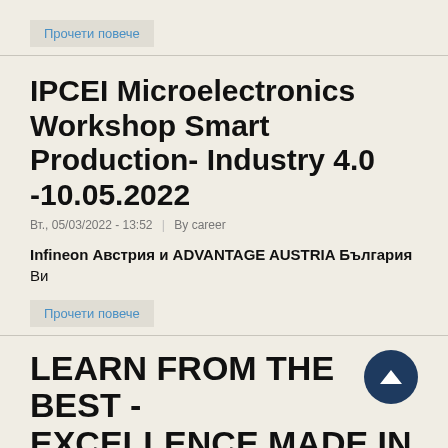Прочети повече
IPCEI Microelectronics Workshop Smart Production- Industry 4.0 -10.05.2022
Вт., 05/03/2022 - 13:52  |  By career
Infineon Австрия и ADVANTAGE AUSTRIA България Ви
Прочети повече
LEARN FROM THE BEST - EXCELLENCE MADE IN